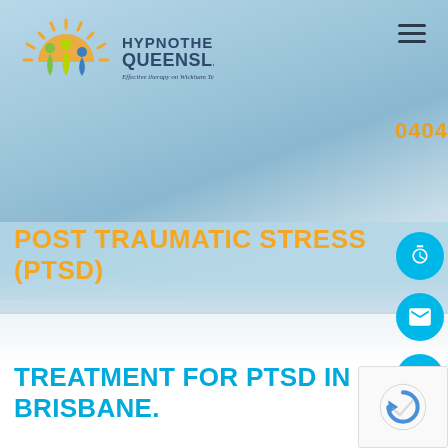[Figure (logo): Hypnotherapy Queensland logo with sun and three figures, tagline: Effective therapy on Wickham Terrace, Brisbane]
POST TRAUMATIC STRESS (PTSD)
TREATMENT FOR PTSD IN BRISBANE.